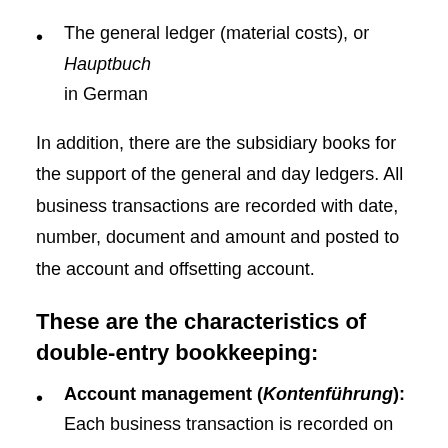The general ledger (material costs), or Hauptbuch in German
In addition, there are the subsidiary books for the support of the general and day ledgers. All business transactions are recorded with date, number, document and amount and posted to the account and offsetting account.
These are the characteristics of double-entry bookkeeping:
Account management (Kontenführung): Each business transaction is recorded on two pages. In this way, accounting discrepancies can be detected